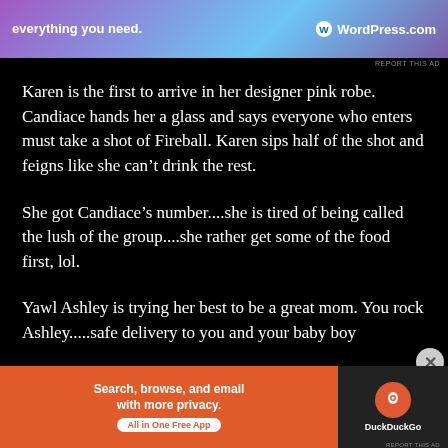[Figure (screenshot): Advertisement banner for WordPress.com with gradient purple-blue background, text 'everything you need.' and WordPress.com logo]
Karen is the first to arrive in her designer pink robe. Candiace hands her a glass and says everyone who enters must take a shot of Fireball. Karen sips half of the shot and feigns like she can't drink the rest.
She got Candiace's number....she is tired of being called the lush of the group....she rather get some of the food first, lol.
Yawl Ashley is trying her best to be a great mom. You rock Ashley.....safe delivery to you and your baby boy
[Figure (screenshot): DuckDuckGo advertisement banner: orange left panel 'Search, browse, and email with more privacy. All in One Free App', dark right panel with DuckDuckGo logo]